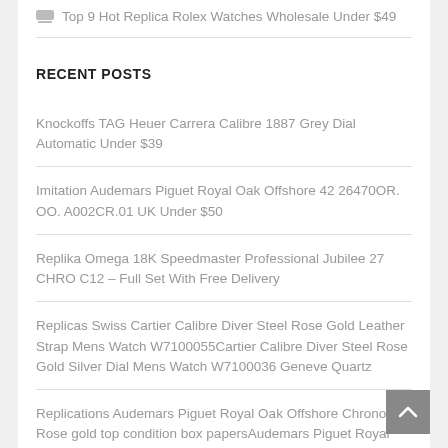Top 9 Hot Replica Rolex Watches Wholesale Under $49
RECENT POSTS
Knockoffs TAG Heuer Carrera Calibre 1887 Grey Dial Automatic Under $39
Imitation Audemars Piguet Royal Oak Offshore 42 26470OR. OO. A002CR.01 UK Under $50
Replika Omega 18K Speedmaster Professional Jubilee 27 CHRO C12 – Full Set With Free Delivery
Replicas Swiss Cartier Calibre Diver Steel Rose Gold Leather Strap Mens Watch W7100055Cartier Calibre Diver Steel Rose Gold Silver Dial Mens Watch W7100036 Geneve Quartz
Replications Audemars Piguet Royal Oak Offshore Chrono Rose gold top condition box papersAudemars Piguet Royal Oak Offshore Chrono Safari Steel Lum...